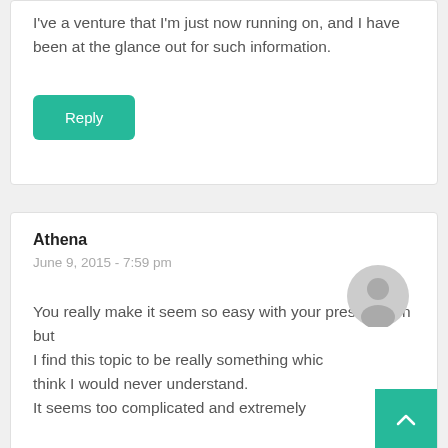I've a venture that I'm just now running on, and I have been at the glance out for such information.
Reply
Athena
June 9, 2015 - 7:59 pm
You really make it seem so easy with your presentation but I find this topic to be really something which I think I would never understand. It seems too complicated and extremely